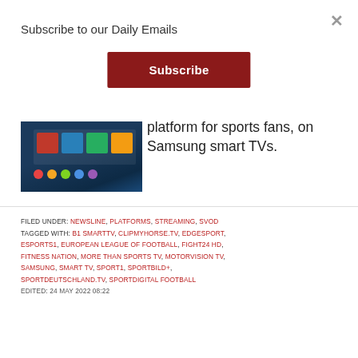Subscribe to our Daily Emails
Subscribe
[Figure (screenshot): Screenshot of a streaming platform interface on Samsung Smart TV showing a dark blue UI with colorful channel icons]
platform for sports fans, on Samsung smart TVs.
FILED UNDER: NEWSLINE, PLATFORMS, STREAMING, SVOD
TAGGED WITH: B1 SMARTTV, CLIPMYHORSE.TV, EDGESPORT, ESPORTS1, EUROPEAN LEAGUE OF FOOTBALL, FIGHT24 HD, FITNESS NATION, MORE THAN SPORTS TV, MOTORVISION TV, SAMSUNG, SMART TV, SPORT1, SPORTBILD+, SPORTDEUTSCHLAND.TV, SPORTDIGITAL FOOTBALL
EDITED: 24 MAY 2022 08:22